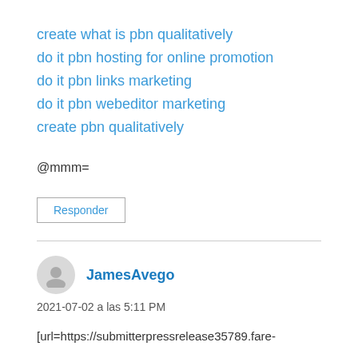create what is pbn qualitatively
do it pbn hosting for online promotion
do it pbn links marketing
do it pbn webeditor marketing
create pbn qualitatively
@mmm=
Responder
JamesAvego
2021-07-02 a las 5:11 PM
[url=https://submitterpressrelease35789.fare-